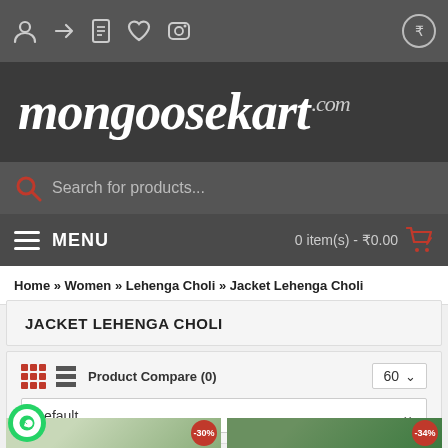[Figure (screenshot): Top navigation icon bar with user, arrow, document, heart, camera icons and rupee circle button on dark grey background]
[Figure (logo): mongoosekart.com logo in italic serif white text on dark background]
[Figure (screenshot): Search bar with red magnifying glass icon and placeholder text 'Search for products...']
[Figure (screenshot): Menu bar with hamburger icon, MENU label, and cart showing '0 item(s) - ₹0.00' with red shopping cart icon]
Home » Women » Lehenga Choli » Jacket Lehenga Choli
JACKET LEHENGA CHOLI
[Figure (screenshot): Product listing controls with grid/list view icons, Product Compare (0) link, 60 items per page dropdown, and Default sort dropdown]
[Figure (photo): Two product thumbnail images partially visible at bottom, first with -30% badge, second with -34% badge. WhatsApp chat button overlay on left.]